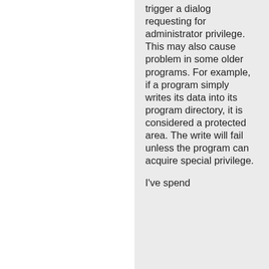trigger a dialog requesting for administrator privilege. This may also cause problem in some older programs. For example, if a program simply writes its data into its program directory, it is considered a protected area. The write will fail unless the program can acquire special privilege.
I've spend